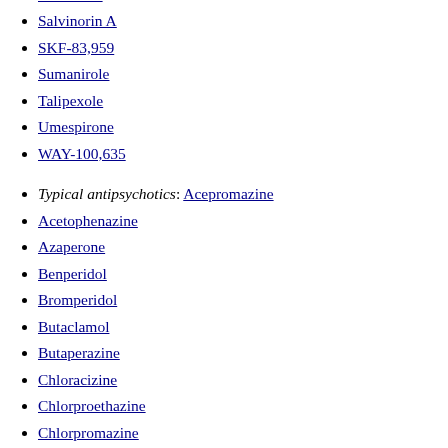Roxindole
Salvinorin A
SKF-83,959
Sumanirole
Talipexole
Umespirone
WAY-100,635
Typical antipsychotics: Acepromazine
Acetophenazine
Azaperone
Benperidol
Bromperidol
Butaclamol
Butaperazine
Chloracizine
Chlorproethazine
Chlorpromazine
Chlorprothixene
Ciclindole
Clopenthixol
Clothixamide
Clopimozide
Droperidol
Fluacizine